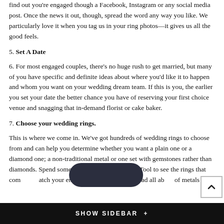find out you're engaged though a Facebook, Instagram or any social media post. Once the news it out, though, spread the word any way you like. We particularly love it when you tag us in your ring photos—it gives us all the good feels.
5. Set A Date
6. For most engaged couples, there's no huge rush to get married, but many of you have specific and definite ideas about where you'd like it to happen and whom you want on your wedding dream team. If this is you, the earlier you set your date the better chance you have of reserving your first choice venue and snagging that in-demand florist or cake baker.
7. Choose your wedding rings.
This is where we come in. We've got hundreds of wedding rings to choose from and can help you determine whether you want a plain one or a diamond one; a non-traditional metal or one set with gemstones rather than diamonds. Spend some time with Ring Matcher Tool to see the rings that co... atch your engagement ring style, or read all ab... of metals ...
SHOW SIDEBAR +